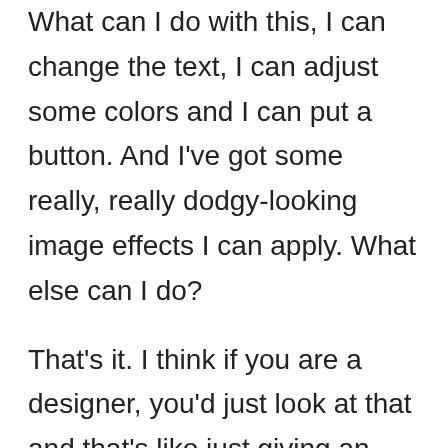What can I do with this, I can change the text, I can adjust some colors and I can put a button. And I've got some really, really dodgy-looking image effects I can apply. What else can I do?
That's it. I think if you are a designer, you'd just look at that and that's like just giving an artist a pencil and say, get on with it, do A Sistine Chapel with a pencil, it would be laughable if it wasn't, that was out of our controls to